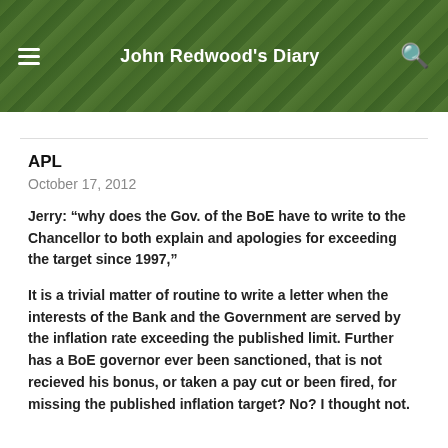John Redwood's Diary
APL
October 17, 2012
Jerry: “why does the Gov. of the BoE have to write to the Chancellor to both explain and apologies for exceeding the target since 1997,”
It is a trivial matter of routine to write a letter when the interests of the Bank and the Government are served by the inflation rate exceeding the published limit. Further has a BoE governor ever been sanctioned, that is not recieved his bonus, or taken a pay cut or been fired, for missing the published inflation target? No? I thought not.